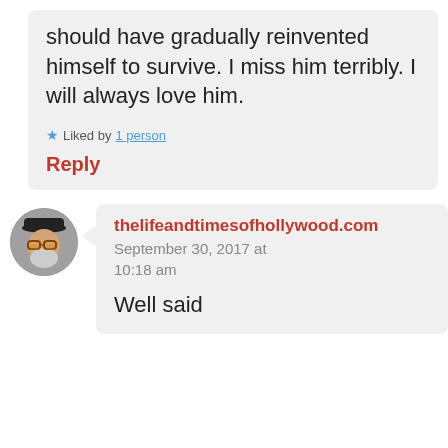should have gradually reinvented himself to survive. I miss him terribly. I will always love him.
Liked by 1 person
Reply
thelifeandtimesofhollywood.com
September 30, 2017 at 10:18 am
Well said